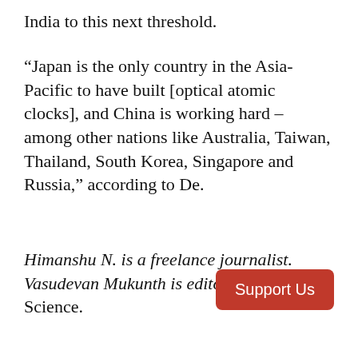India to this next threshold.
“Japan is the only country in the Asia-Pacific to have built [optical atomic clocks], and China is working hard – among other nations like Australia, Taiwan, Thailand, South Korea, Singapore and Russia,” according to De.
Himanshu N. is a freelance journalist. Vasudevan Mukunth is editor, The Wire Science.
Support Us